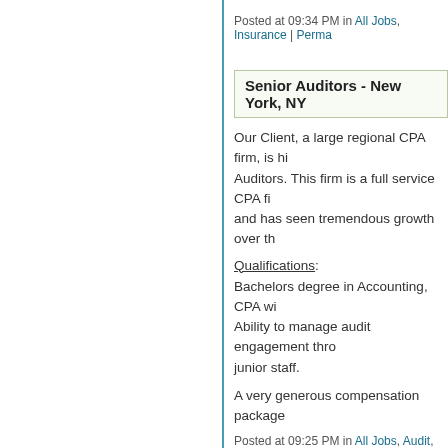Posted at 09:34 PM in All Jobs, Insurance | Perma...
Senior Auditors - New York, NY
Our Client, a large regional CPA firm, is hiring Senior Auditors. This firm is a full service CPA firm and has seen tremendous growth over the...
Qualifications:
Bachelors degree in Accounting, CPA with... Ability to manage audit engagement through... junior staff.
A very generous compensation package...
Posted at 09:25 PM in All Jobs, Audit, CPA | Perm...
Audit Managers - New York, NY
Our Client, a large regional CPA firm, is hiring positions. This firm is a full service CPA firm and has seen tremendous growth over the...